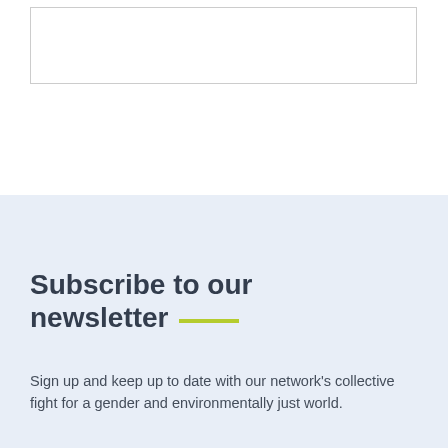[Figure (other): Empty white box with border at top of page]
Subscribe to our newsletter
Sign up and keep up to date with our network's collective fight for a gender and environmentally just world.